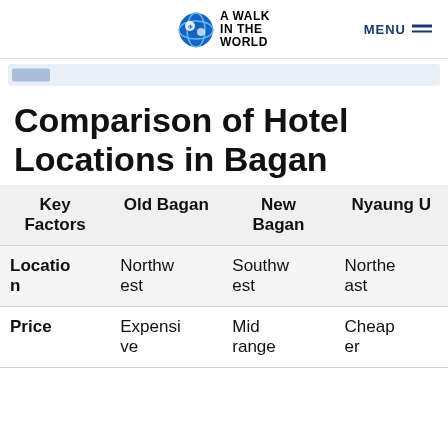A Walk in the World — MENU
Comparison of Hotel Locations in Bagan
| Key Factors | Old Bagan | New Bagan | Nyaung U |
| --- | --- | --- | --- |
| Location | Northwest | Southwest | Northeast |
| Price | Expensive | Mid range | Cheaper |